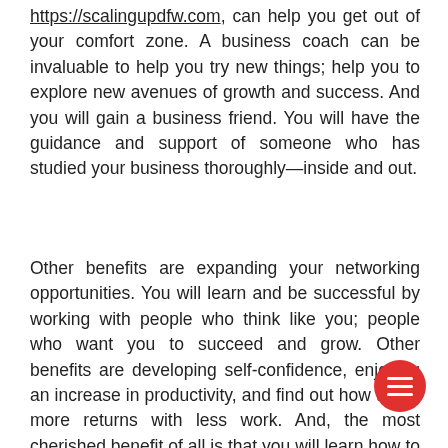https://scalingupdfw.com, can help you get out of your comfort zone. A business coach can be invaluable to help you try new things; help you to explore new avenues of growth and success. And you will gain a business friend. You will have the guidance and support of someone who has studied your business thoroughly—inside and out.
Other benefits are expanding your networking opportunities. You will learn and be successful by working with people who think like you; people who want you to succeed and grow. Other benefits are developing self-confidence, enjoying an increase in productivity, and find out how to get more returns with less work. And, the most cherished benefit of all is that you will learn how to make more money.